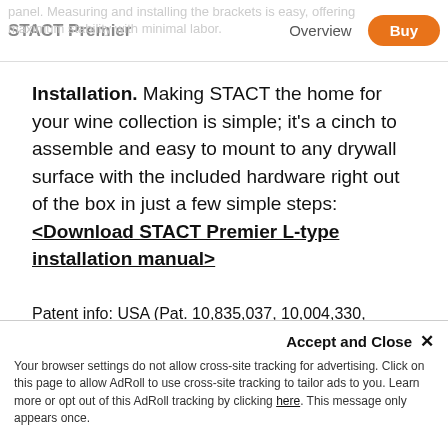STACT Premier   Overview   Buy
Installation. Making STACT the home for your wine collection is simple; it's a cinch to assemble and easy to mount to any drywall surface with the included hardware right out of the box in just a few simple steps: <Download STACT Premier L-type installation manual>
Patent info: USA (Pat. 10,835,037, 10,004,330, D834,900), EU (Pat. 004085371-0001), USA and Int'l patents pending.
Accept and Close ✕ Your browser settings do not allow cross-site tracking for advertising. Click on this page to allow AdRoll to use cross-site tracking to tailor ads to you. Learn more or opt out of this AdRoll tracking by clicking here. This message only appears once.